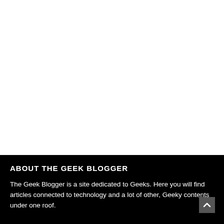[Figure (other): Large white blank area occupying the upper portion of the page]
ABOUT THE GEEK BLOGGER
The Geek Blogger is a site dedicated to Geeks. Here you will find articles connected to technology and a lot of other, Geeky contents under one roof.